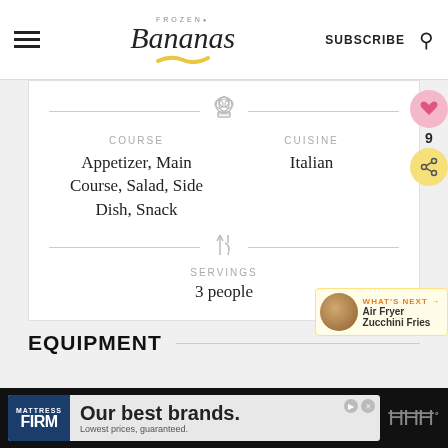Frozen Bananas — SUBSCRIBE
COURSE
Appetizer, Main Course, Salad, Side Dish, Snack
CUISINE
Italian
SERVINGS
3 people
EQUIPMENT
[Figure (other): Floating heart/like button (pink circle with heart) and share button (yellow circle with share icon) with count 9]
WHAT'S NEXT → Air Fryer Zucchini Fries
[Figure (other): Advertisement banner: Mattress Firm — Our best brands. Lowest prices, guaranteed.]